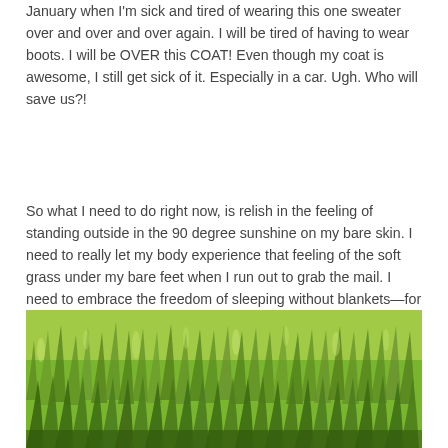January when I'm sick and tired of wearing this one sweater over and over and over again. I will be tired of having to wear boots. I will be OVER this COAT! Even though my coat is awesome, I still get sick of it. Especially in a car. Ugh. Who will save us?!
So what I need to do right now, is relish in the feeling of standing outside in the 90 degree sunshine on my bare skin. I need to really let my body experience that feeling of the soft grass under my bare feet when I run out to grab the mail. I need to embrace the freedom of sleeping without blankets—for soon enough, my toes will turn to icicles under three different blankets. There is a time for all of it.
[Figure (photo): Close-up photo of green grass blades, shot from a low angle, showing a lush green lawn with light filtering through the grass]